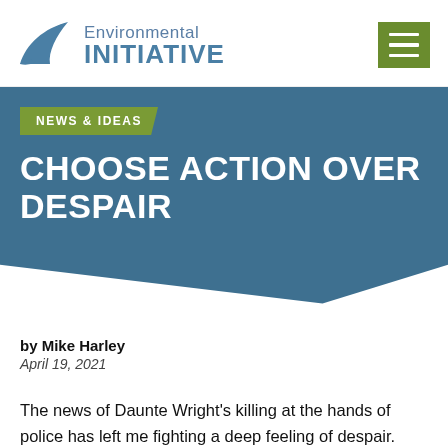[Figure (logo): Environmental Initiative logo with stylized bird/wing icon in blue and text 'Environmental INITIATIVE']
NEWS & IDEAS
CHOOSE ACTION OVER DESPAIR
by Mike Harley
April 19, 2021
The news of Daunte Wright's killing at the hands of police has left me fighting a deep feeling of despair. This reaction goes far beyond sadness and